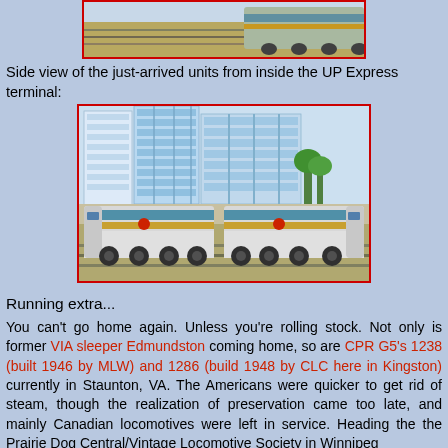[Figure (photo): Top portion of a train photo showing tracks and locomotives, partially visible at top of page]
Side view of the just-arrived units from inside the UP Express terminal:
[Figure (photo): Two VIA Rail locomotives parked at the UP Express terminal with glass office buildings in the background. The locomotives are silver/grey with blue and gold stripes.]
Running extra...
You can't go home again. Unless you're rolling stock. Not only is former VIA sleeper Edmundston coming home, so are CPR G5's 1238 (built 1946 by MLW) and 1286 (build 1948 by CLC here in Kingston) currently in Staunton, VA. The Americans were quicker to get rid of steam, though the realization of preservation came too late, and mainly Canadian locomotives were left in service. Heading the the Prairie Dog Central/Vintage Locomotive Society in Winnipeg